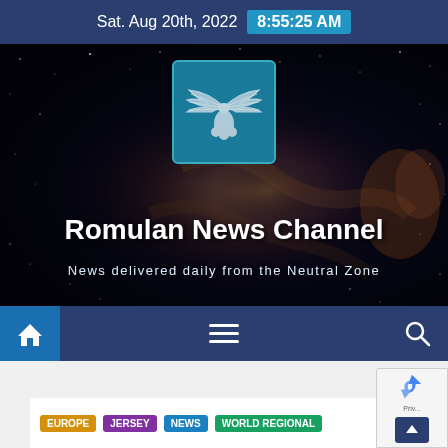Sat. Aug 20th, 2022  8:55:25 AM
[Figure (screenshot): Hero banner with galaxy/space background image showing the Romulan News Channel logo (winged emblem on teal square), site title, and tagline]
Romulan News Channel
News delivered daily from the Neutral Zone
[Figure (infographic): Navigation bar with home icon button (blue), hamburger menu icon (center), and search icon (right) on dark blue background]
EUROPE  JERSEY  NEWS  WORLD REGIONAL